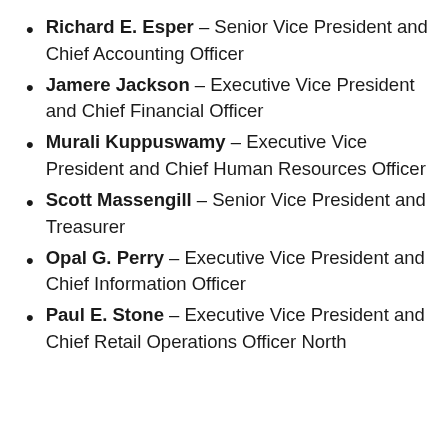Richard E. Esper – Senior Vice President and Chief Accounting Officer
Jamere Jackson – Executive Vice President and Chief Financial Officer
Murali Kuppuswamy – Executive Vice President and Chief Human Resources Officer
Scott Massengill – Senior Vice President and Treasurer
Opal G. Perry – Executive Vice President and Chief Information Officer
Paul E. Stone – Executive Vice President and Chief Retail Operations Officer North